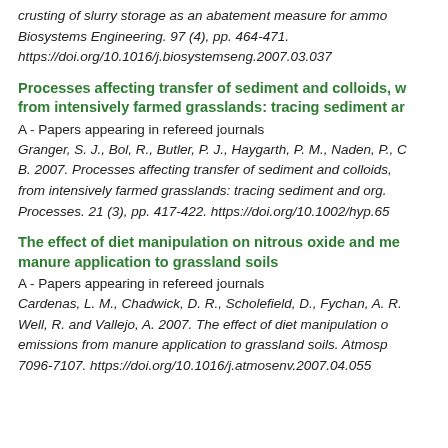crusting of slurry storage as an abatement measure for ammo Biosystems Engineering. 97 (4), pp. 464-471. https://doi.org/10.1016/j.biosystemseng.2007.03.037
Processes affecting transfer of sediment and colloids, w from intensively farmed grasslands: tracing sediment ar
A - Papers appearing in refereed journals
Granger, S. J., Bol, R., Butler, P. J., Haygarth, P. M., Naden, P., C B. 2007. Processes affecting transfer of sediment and colloids, from intensively farmed grasslands: tracing sediment and org. Processes. 21 (3), pp. 417-422. https://doi.org/10.1002/hyp.65
The effect of diet manipulation on nitrous oxide and me manure application to grassland soils
A - Papers appearing in refereed journals
Cardenas, L. M., Chadwick, D. R., Scholefield, D., Fychan, A. R. Well, R. and Vallejo, A. 2007. The effect of diet manipulation o emissions from manure application to grassland soils. Atmosp 7096-7107. https://doi.org/10.1016/j.atmosenv.2007.04.055